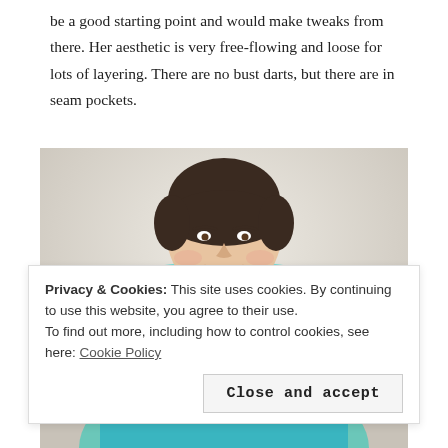be a good starting point and would make tweaks from there. Her aesthetic is very free-flowing and loose for lots of layering. There are no bust darts, but there are in seam pockets.
[Figure (photo): A smiling woman with short dark hair wearing a colorful striped top with teal/aqua, orange/red, navy, and teal horizontal stripes, standing against a light beige wall.]
Privacy & Cookies: This site uses cookies. By continuing to use this website, you agree to their use.
To find out more, including how to control cookies, see here: Cookie Policy
Close and accept